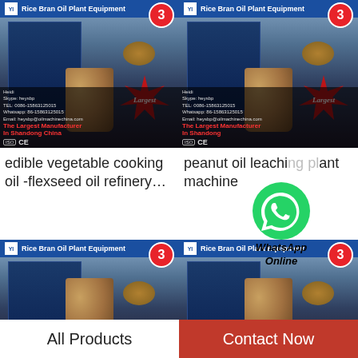[Figure (photo): Industrial oil press machinery with blue header bar reading 'Rice Bran Oil Plant Equipment', red badge with number 3, machinery interior, 'Largest' text starburst, contact info overlay, manufacturer branding 'The Largest Manufacturer In Shandong China', ISO and CE marks - top left card]
[Figure (photo): Identical industrial oil press machinery photo - top right card with WhatsApp button overlay]
edible vegetable cooking oil -flexseed oil refinery…
peanut oil leaching plant machine
[Figure (photo): Industrial oil press machinery - bottom left card, same as top left]
[Figure (photo): Industrial oil press machinery - bottom right card, same as top right]
All Products
Contact Now